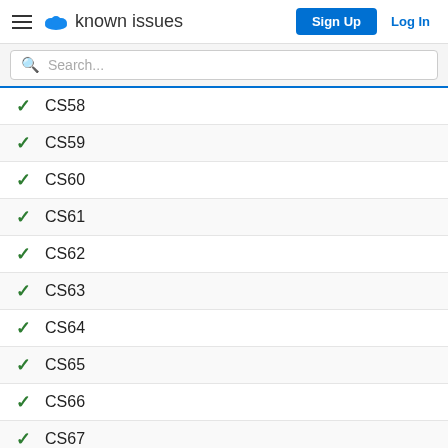known issues | Sign Up | Log In
Search...
✓ CS58
✓ CS59
✓ CS60
✓ CS61
✓ CS62
✓ CS63
✓ CS64
✓ CS65
✓ CS66
✓ CS67
✓ CS68
✓ CS69
✓ CS72
✓ CS73
✓ CS74
✓ CS75